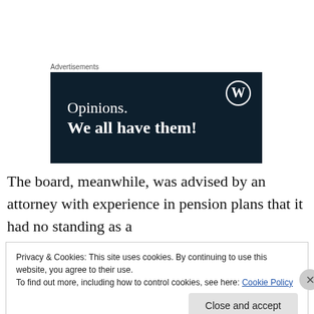Advertisements
[Figure (illustration): WordPress advertisement banner: dark navy background with WordPress logo (W in circle) in top right, text 'Opinions. We all have them!']
The board, meanwhile, was advised by an attorney with experience in pension plans that it had no standing as a
Privacy & Cookies: This site uses cookies. By continuing to use this website, you agree to their use.
To find out more, including how to control cookies, see here: Cookie Policy
Close and accept